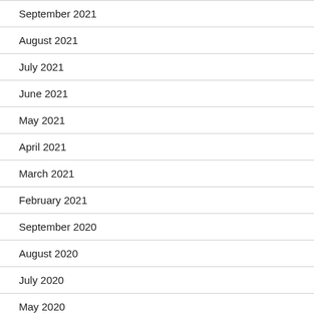September 2021
August 2021
July 2021
June 2021
May 2021
April 2021
March 2021
February 2021
September 2020
August 2020
July 2020
May 2020
April 2020